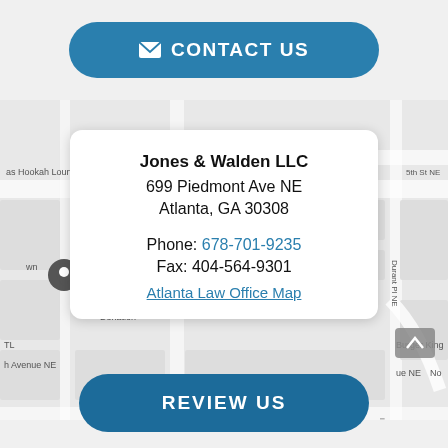CONTACT US
[Figure (map): Google Maps view of Atlanta area near 699 Piedmont Ave NE, showing street map with labels including 5th St NE, Durant Pl NE, Burger King, and other local landmarks.]
Jones & Walden LLC
699 Piedmont Ave NE
Atlanta, GA 30308
Phone: 678-701-9235
Fax: 404-564-9301
Atlanta Law Office Map
REVIEW US